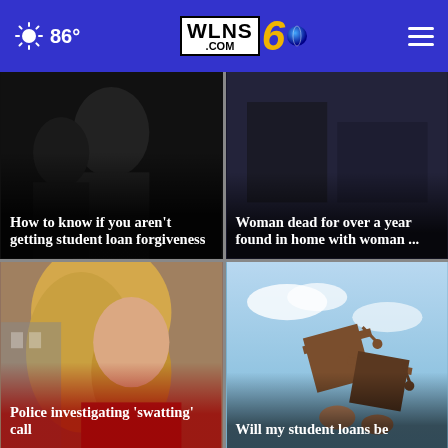86° WLNS6.COM
[Figure (screenshot): News card: dark background with shadowed figure, headline overlay 'How to know if you aren't getting student loan forgiveness']
[Figure (screenshot): News card: dark blue background, headline overlay 'Woman dead for over a year found in home with woman ...']
[Figure (photo): News card: photo of blonde woman looking up, red gradient overlay, headline 'Police investigating ‘swatting’ call']
[Figure (photo): News card: photo of graduation caps against blue sky, headline overlay 'Will my student loans be']